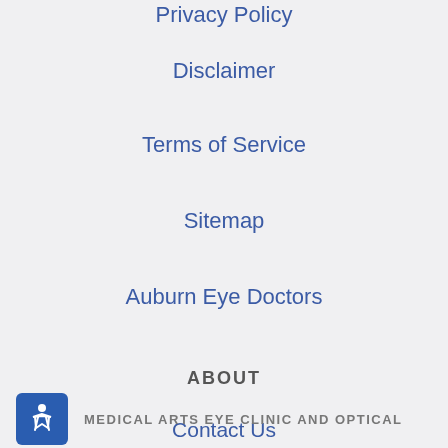Privacy Policy
Disclaimer
Terms of Service
Sitemap
Auburn Eye Doctors
ABOUT
Contact Us
Find Us
MEDICAL ARTS EYE CLINIC AND OPTICAL